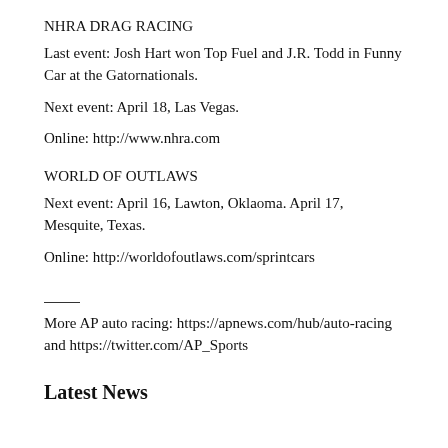NHRA DRAG RACING
Last event: Josh Hart won Top Fuel and J.R. Todd in Funny Car at the Gatornationals.
Next event: April 18, Las Vegas.
Online: http://www.nhra.com
WORLD OF OUTLAWS
Next event: April 16, Lawton, Oklaoma. April 17, Mesquite, Texas.
Online: http://worldofoutlaws.com/sprintcars
More AP auto racing: https://apnews.com/hub/auto-racing and https://twitter.com/AP_Sports
Latest News